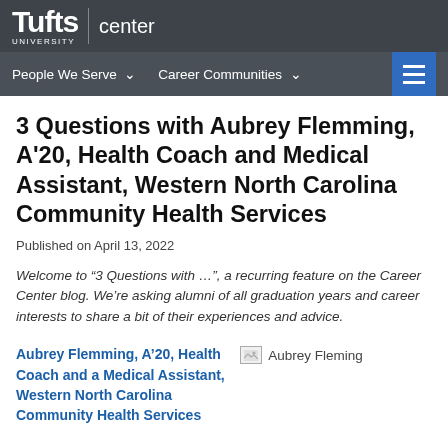Tufts University | center
People We Serve ∨   Career Communities ∨
3 Questions with Aubrey Flemming, A'20, Health Coach and Medical Assistant, Western North Carolina Community Health Services
Published on April 13, 2022
Welcome to “3 Questions with …”, a recurring feature on the Career Center blog. We’re asking alumni of all graduation years and career interests to share a bit of their experiences and advice.
Aubrey Flemming, A’20, Health Coach and a Medical Assistant, Western North Carolina Community Health Services
[Figure (photo): Photo of Aubrey Fleming]